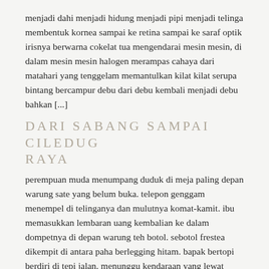menjadi dahi menjadi hidung menjadi pipi menjadi telinga membentuk kornea sampai ke retina sampai ke saraf optik irisnya berwarna cokelat tua mengendarai mesin mesin, di dalam mesin mesin halogen merampas cahaya dari matahari yang tenggelam memantulkan kilat kilat serupa bintang bercampur debu dari debu kembali menjadi debu bahkan [...]
DARI SABANG SAMPAI CILEDUG RAYA
perempuan muda menumpang duduk di meja paling depan warung sate yang belum buka. telepon genggam menempel di telinganya dan mulutnya komat-kamit. ibu memasukkan lembaran uang kembalian ke dalam dompetnya di depan warung teh botol. sebotol frestea dikempit di antara paha berlegging hitam. bapak bertopi berdiri di tepi jalan. menunggu kendaraan yang lewat berkurang supaya dia [...]
ORANG ORANG SATU PER SATU MATI
orang orang satu per satu mati. membawa sejarah masing masing ke dalam tidur panjang di dalam kotak atau di dalam lipatan kain. cerita cerita sedih bahagia mimpi mimpi yang